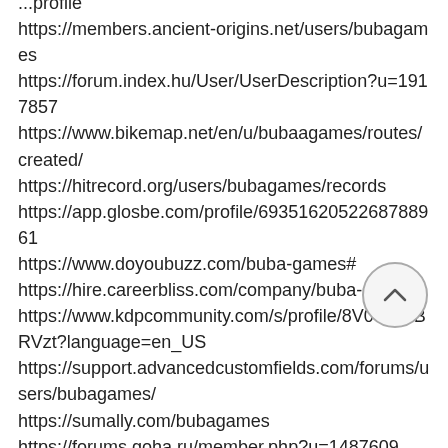...profile
https://members.ancient-origins.net/users/bubagames
https://forum.index.hu/User/UserDescription?u=1917857
https://www.bikemap.net/en/u/bubaagames/routes/created/
https://hitrecord.org/users/bubagames/records
https://app.glosbe.com/profile/6935162052268788961
https://www.doyoubuzz.com/buba-games#
https://hire.careerbliss.com/company/buba-games/
https://www.kdpcommunity.com/s/profile/8V00000BRVzt?language=en_US
https://support.advancedcustomfields.com/forums/users/bubagames/
https://sumally.com/bubagames
https://forums.goha.ru/member.php?u=1487609
https://myblogu.com/profile/bubagames